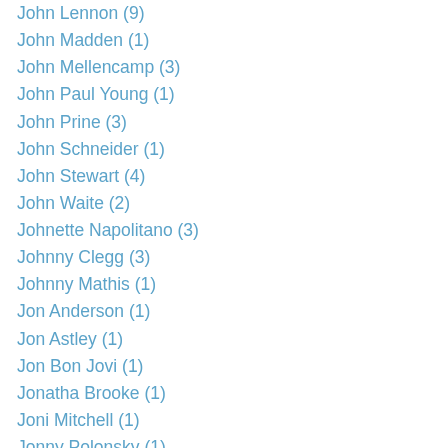John Lennon (9)
John Madden (1)
John Mellencamp (3)
John Paul Young (1)
John Prine (3)
John Schneider (1)
John Stewart (4)
John Waite (2)
Johnette Napolitano (3)
Johnny Clegg (3)
Johnny Mathis (1)
Jon Anderson (1)
Jon Astley (1)
Jon Bon Jovi (1)
Jonatha Brooke (1)
Joni Mitchell (1)
Jonny Polonsky (1)
Journey (12)
Judas Priest (1)
Juice Newton (1)